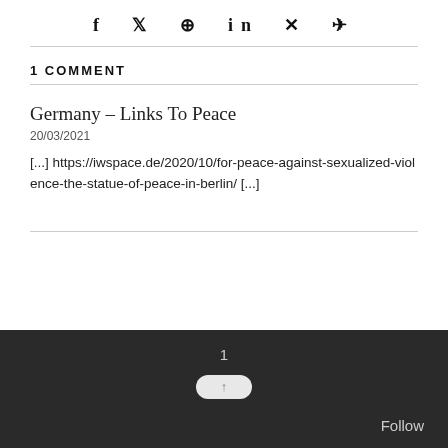[Figure (other): Social share icons: f (Facebook), bird (Twitter), circle-P (Pinterest), in (LinkedIn), X (Xing), paper airplane (email/share)]
1 COMMENT
Germany – Links To Peace
20/03/2021
[...] https://iwspace.de/2020/10/for-peace-against-sexualized-violence-the-statue-of-peace-in-berlin/ [...]
1  •  Follow